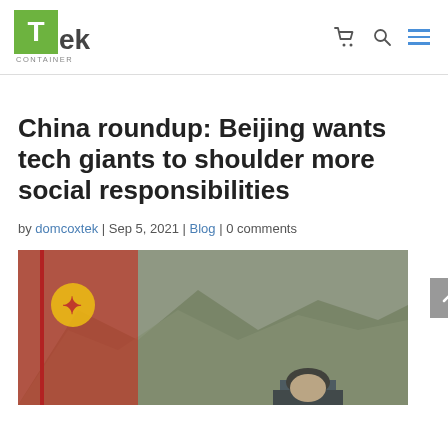Tek Container — navigation header with logo, cart icon, search icon, and hamburger menu
China roundup: Beijing wants tech giants to shoulder more social responsibilities
by domcoxtek | Sep 5, 2021 | Blog | 0 comments
[Figure (photo): Photo showing a person (likely a Chinese official) in front of a red flag with yellow hammer and sickle, with a painted mountain background]